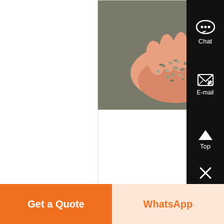[Figure (photo): A hand holding small crushed stone/gravel aggregate material, photographed from above on a dark background.]
Online Chat In Crusher Plant - jmiindustrico
Online Chat in Crusher PlantSB supplies complete stone crushing screening plant, grinding mill for quarrying, mining industry in India, China, South Africa...
Know
Get a Quote
WhatsApp